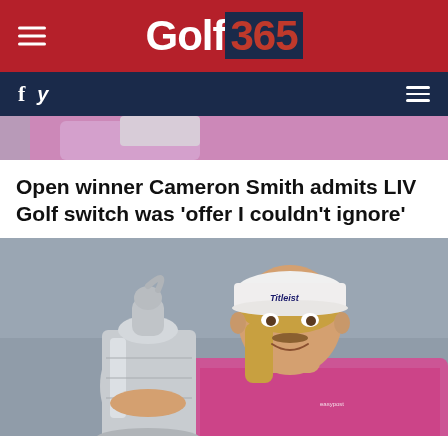Golf 365
[Figure (photo): Partial top image showing a pink/purple patterned shirt, cropped at top of page]
Open winner Cameron Smith admits LIV Golf switch was 'offer I couldn't ignore'
[Figure (photo): Cameron Smith holding the Claret Jug (Open Championship trophy), wearing a white Titleist cap and pink patterned shirt, smiling]
Cameron Smith's switch to LIV Golf confirmed